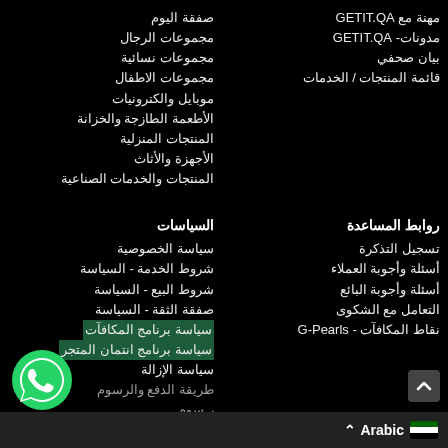صفقة اليوم
مجموعات الرجال
مجموعات نسائية
مجموعات الاطفال
موبايل والكترونيات
الأطعمة الطازجة والخزانة
المنتجات المنزلية
الأجهزة والأثاث
المنتجات والخدمات الصناعية
مهنة مع GETIT.QA
مدونات- GETIT.QA
بيان صحفي
قائمة المنتجات / الخدمات
السياسات
روابط المساعدة
سياسة الخصوصية
شروط الخدمة - السياسة
شروط البيع - السياسة
صفقة الثقة - السياسة
سياسة برنامج المكافآت
سياسة برنامج انتمان المتجر
سياسة الإزالة
طريقة الدفع والرسوم
تسجيل التذكرة
أسئلة وأجوبة العملاء
أسئلة وأجوبة البائع
التعامل مع الشكوى
نقاط المكافآت - G-Pearls
[Figure (logo): WhatsApp green circular icon]
Arabic